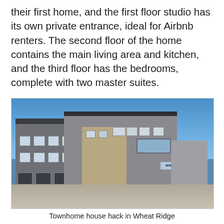their first home, and the first floor studio has its own private entrance, ideal for Airbnb renters. The second floor of the home contains the main living area and kitchen, and the third floor has the bedrooms, complete with two master suites.
[Figure (photo): Exterior photograph of a modern multi-unit townhome development with dark grey and stone/brick facade, blue sky background, 'Now Leasing' banner visible, located in Wheat Ridge.]
Townhome house hack in Wheat Ridge